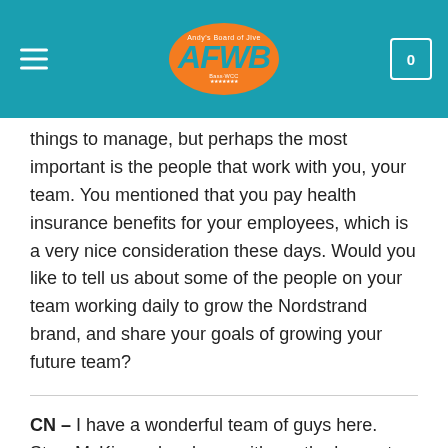AFWB logo header with hamburger menu and cart icon
things to manage, but perhaps the most important is the people that work with you, your team. You mentioned that you pay health insurance benefits for your employees, which is a very nice consideration these days. Would you like to tell us about some of the people on your team working daily to grow the Nordstrand brand, and share your goals of growing your future team?
CN – I have a wonderful team of guys here. Stew McKinsey has been with me the longest and he's a treasure. Rock solid. Adrian Smith basically runs the show and makes sure it all runs smoothly. John Contreras manages the production environment making sure everyone has what they need to be as efficient as possible. Also handles QC. Great guy. We have 3 guys that wind full time. Clinton Sparks, Michael Lodge, and